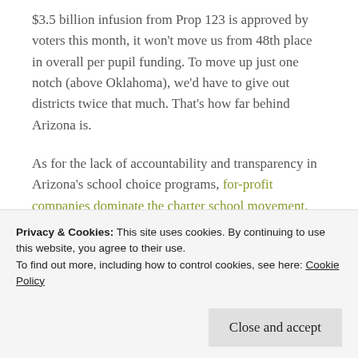$3.5 billion infusion from Prop 123 is approved by voters this month, it won't move us from 48th place in overall per pupil funding. To move up just one notch (above Oklahoma), we'd have to give out districts twice that much. That's how far behind Arizona is.
As for the lack of accountability and transparency in Arizona's school choice programs, for-profit companies dominate the charter school movement. These companies do not have school boards, let alone locally elected boards and are not required to disclose
Privacy & Cookies: This site uses cookies. By continuing to use this website, you agree to their use. To find out more, including how to control cookies, see here: Cookie Policy
Close and accept